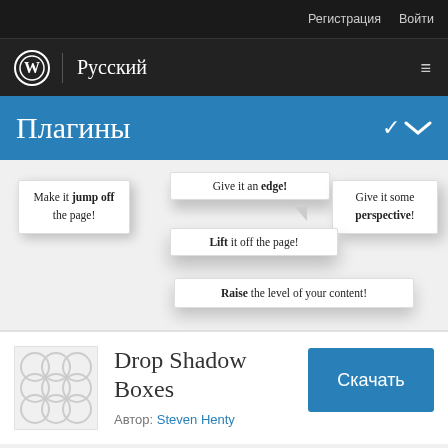Регистрация   Войти
Русский
Плагины
[Figure (screenshot): Drop Shadow Boxes plugin demo showing multiple floating white boxes with shadow effects and text: 'Make it jump off the page!', 'Give it an edge!', 'Give it some perspective!', 'Lift it off the page!', 'Raise the level of your content!']
[Figure (logo): WordPress plugin icon placeholder with overlapping circle pattern in grey]
Drop Shadow Boxes
Автор: Steven Henty
Скачать